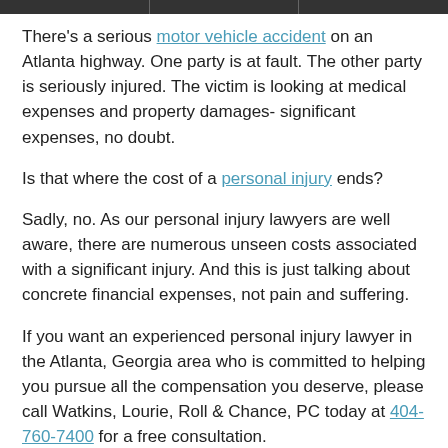There's a serious motor vehicle accident on an Atlanta highway. One party is at fault. The other party is seriously injured. The victim is looking at medical expenses and property damages- significant expenses, no doubt.
Is that where the cost of a personal injury ends?
Sadly, no. As our personal injury lawyers are well aware, there are numerous unseen costs associated with a significant injury. And this is just talking about concrete financial expenses, not pain and suffering.
If you want an experienced personal injury lawyer in the Atlanta, Georgia area who is committed to helping you pursue all the compensation you deserve, please call Watkins, Lourie, Roll & Chance, PC today at 404-760-7400 for a free consultation.